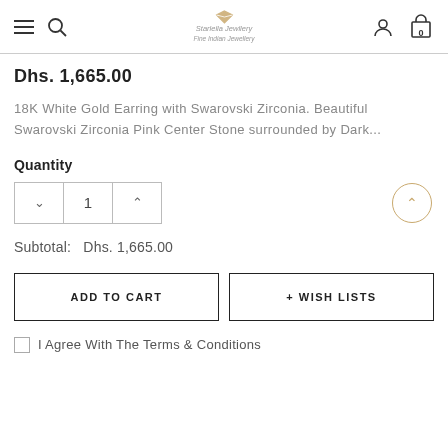Starlella Jewllery — Fine Indian Jewellery
Dhs. 1,665.00
18K White Gold Earring with Swarovski Zirconia. Beautiful Swarovski Zirconia Pink Center Stone surrounded by Dark...
Quantity
Subtotal:   Dhs. 1,665.00
ADD TO CART
+ WISH LISTS
I Agree With The Terms & Conditions